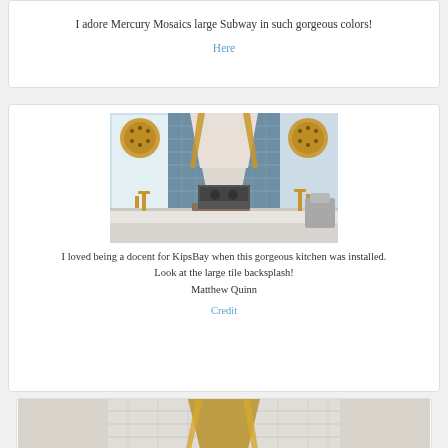I adore Mercury Mosaics large Subway in such gorgeous colors!
Here
[Figure (photo): Kitchen interior with blue subway tile backsplash, white range hood with gold trim, brass globe pendant lights, and brass faucets on white countertop]
I loved being a docent for KipsBay when this gorgeous kitchen was installed. Look at the large tile backsplash! Matthew Quinn
Credit
[Figure (photo): Partial view of kitchen with white subway tiles and a gold/brass range hood]